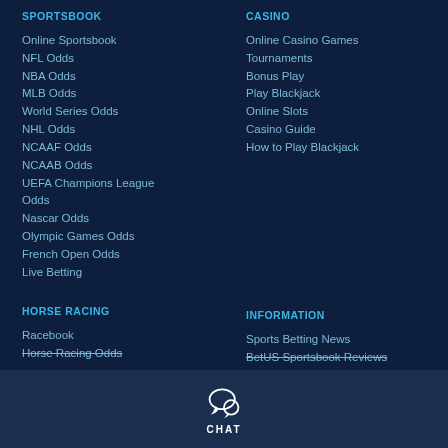SPORTSBOOK
Online Sportsbook
NFL Odds
NBA Odds
MLB Odds
World Series Odds
NHL Odds
NCAAF Odds
NCAAB Odds
UEFA Champions League Odds
Nascar Odds
Olympic Games Odds
French Open Odds
Live Betting
CASINO
Online Casino Games
Tournaments
Bonus Play
Play Blackjack
Online Slots
Casino Guide
How to Play Blackjack
HORSE RACING
Racebook
Horse Racing Odds
INFORMATION
Sports Betting News
BetUS Sportsbook Reviews
CHAT